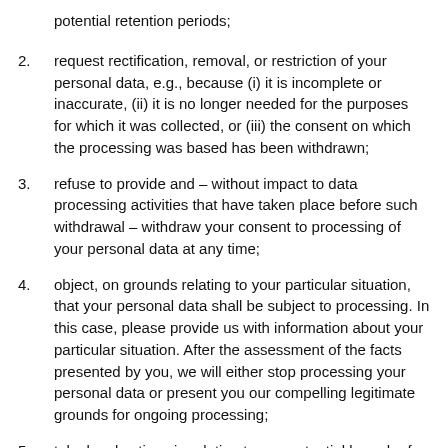potential retention periods;
2. request rectification, removal, or restriction of your personal data, e.g., because (i) it is incomplete or inaccurate, (ii) it is no longer needed for the purposes for which it was collected, or (iii) the consent on which the processing was based has been withdrawn;
3. refuse to provide and – without impact to data processing activities that have taken place before such withdrawal – withdraw your consent to processing of your personal data at any time;
4. object, on grounds relating to your particular situation, that your personal data shall be subject to processing. In this case, please provide us with information about your particular situation. After the assessment of the facts presented by you, we will either stop processing your personal data or present you our compelling legitimate grounds for ongoing processing;
5. take legal actions in relation to any potential breach of your